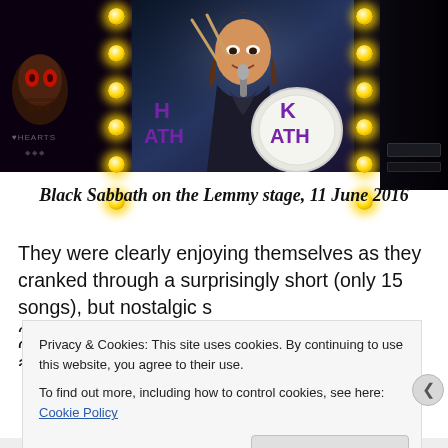[Figure (photo): Concert photo of Black Sabbath performing on the Lemmy stage on 11 June 2016. Shows stage with bright yellow/gold lights arranged vertically on both sides, a large screen in the center showing a performer (Ozzy Osbourne) with long brown hair, and a drum kit visible with partial text 'K ATH' (part of 'Black Sabbath') on the bass drum. Dark atmospheric stage setting with decorative elements on the left.]
Black Sabbath on the Lemmy stage, 11 June 2016
They were clearly enjoying themselves as they cranked through a surprisingly short (only 15 songs), but nostalgic s
Privacy & Cookies: This site uses cookies. By continuing to use this website, you agree to their use.
To find out more, including how to control cookies, see here: Cookie Policy
Close and accept